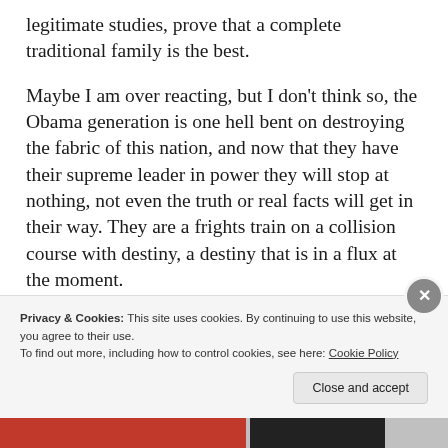legitimate studies, prove that a complete traditional family is the best.
Maybe I am over reacting, but I don't think so, the Obama generation is one hell bent on destroying the fabric of this nation, and now that they have their supreme leader in power they will stop at nothing, not even the truth or real facts will get in their way. They are a frights train on a collision course with destiny, a destiny that is in a flux at the moment.
Privacy & Cookies: This site uses cookies. By continuing to use this website, you agree to their use. To find out more, including how to control cookies, see here: Cookie Policy